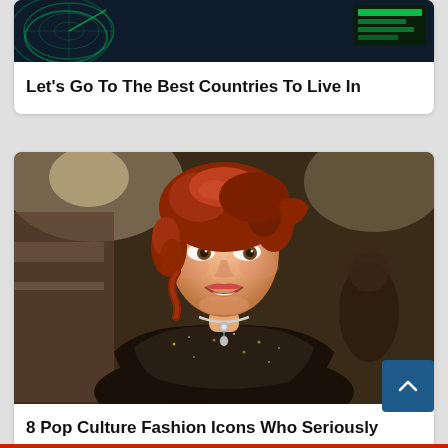[Figure (photo): Partially visible top card with dark blue/green radar-like background image]
Let's Go To The Best Countries To Live In
[Figure (photo): Woman with red curly hair wearing a dark sparkly dress and diamond necklace, smiling, appears to be Rose from the movie Titanic (Kate Winslet)]
8 Pop Culture Fashion Icons Who Seriously Inspired Us